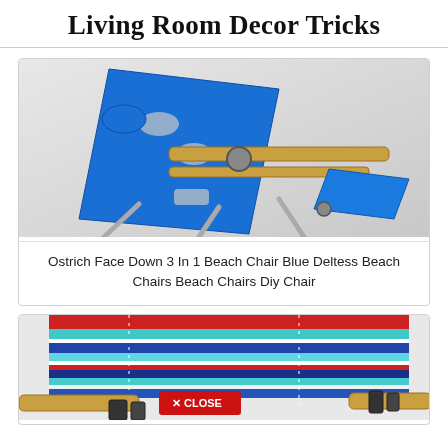Living Room Decor Tricks
[Figure (photo): Blue Ostrich Face Down 3 In 1 Beach Chair with wooden armrests and footrest, shown at an angle on a white/grey background]
Ostrich Face Down 3 In 1 Beach Chair Blue Deltess Beach Chairs Beach Chairs Diy Chair
[Figure (photo): Striped beach chair with red, teal, blue, and white horizontal stripes with wooden armrests, partially visible at the bottom of the page. Has a red CLOSE button overlay.]